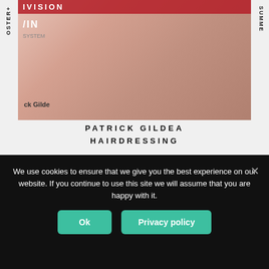[Figure (photo): Woman in pink outfit holding an award/product, with text overlay showing 'DIVISION' and 'WIN' and 'ck Gilde' (Patrick Gildea) branding. Vertical text on left reads 'OSTER+' and on right reads 'SUMME'.]
PATRICK GILDEA
HAIRDRESSING
[Figure (logo): DONEGAL WOMAN logo with stylized exclamation mark in dark and pink, with pink underline beneath WOMAN]
[Figure (photo): Group of people in a shopping center or public space, including a person in a dark vest and a woman in red and white clothing.]
We use cookies to ensure that we give you the best experience on our website. If you continue to use this site we will assume that you are happy with it.